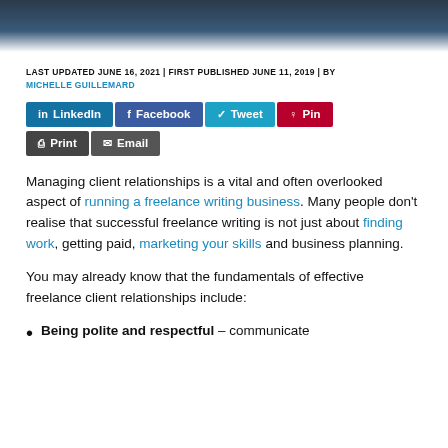[Figure (photo): Dark blue/grey header image at top of page]
LAST UPDATED JUNE 16, 2021 | FIRST PUBLISHED JUNE 11, 2019 | BY MICHELLE GUILLEMARD
[Figure (infographic): Social share buttons: LinkedIn, Facebook, Tweet, Pin, Print, Email]
Managing client relationships is a vital and often overlooked aspect of running a freelance writing business. Many people don’t realise that successful freelance writing is not just about finding work, getting paid, marketing your skills and business planning.
You may already know that the fundamentals of effective freelance client relationships include:
Being polite and respectful – communicate